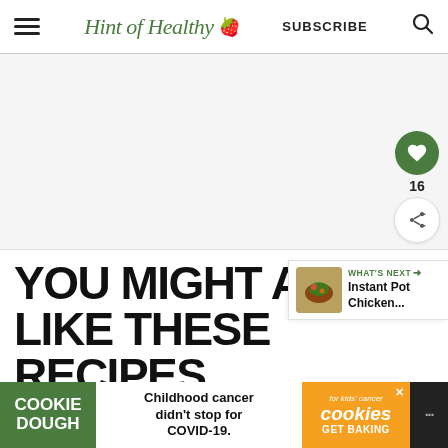Hint of Healthy 🍓  SUBSCRIBE  🔍
[Figure (screenshot): Gray advertisement placeholder area]
YOU MIGHT ALSO LIKE THESE RECIPES
[Figure (illustration): What's Next panel showing Instant Pot Chicken... with food thumbnail]
[Figure (infographic): Cookie Dough / Childhood cancer didn't stop for COVID-19 / cookies for kids' cancer GET BAKING advertisement banner]